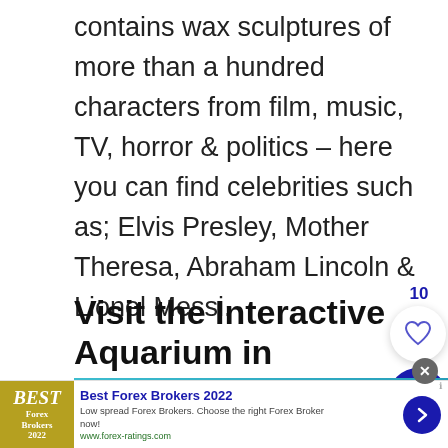contains wax sculptures of more than a hundred characters from film, music, TV, horror & politics – here you can find celebrities such as; Elvis Presley, Mother Theresa, Abraham Lincoln & Lionel Messi.
Visit the Interactive Aquarium in Cancun
[Figure (photo): Underwater aquarium photo showing a sea turtle swimming in blue-green water]
[Figure (other): Advertisement banner: Best Forex Brokers 2022 with logo, description and link to www.forex-ratings.com]